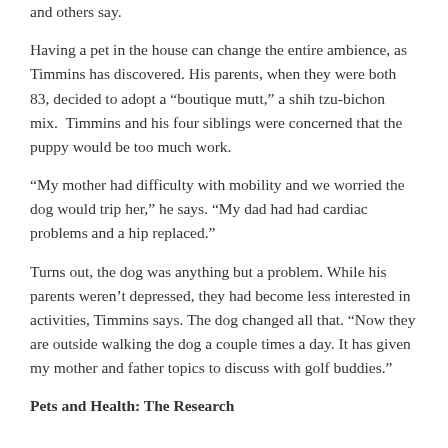and others say.
Having a pet in the house can change the entire ambience, as Timmins has discovered. His parents, when they were both 83, decided to adopt a “boutique mutt,” a shih tzu-bichon mix.  Timmins and his four siblings were concerned that the puppy would be too much work.
“My mother had difficulty with mobility and we worried the dog would trip her,” he says. “My dad had had cardiac problems and a hip replaced.”
Turns out, the dog was anything but a problem. While his parents weren’t depressed, they had become less interested in activities, Timmins says. The dog changed all that. “Now they are outside walking the dog a couple times a day. It has given my mother and father topics to discuss with golf buddies.”
Pets and Health: The Research